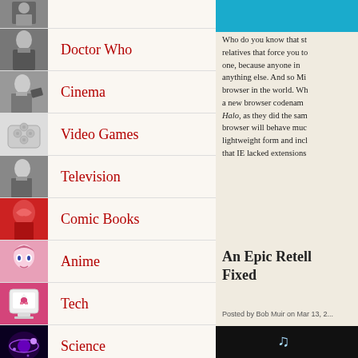(partial top item)
Doctor Who
Cinema
Video Games
Television
Comic Books
Anime
Tech
Science
Who do you know that st... relatives that force you to... one, because anyone in ... anything else. And so Mi... browser in the world. Wh... a new browser codenam... Halo, as they did the sam... browser will behave muc... lightweight form and incl... that IE lacked extensions...
An Epic Retell... Fixed
Posted by Bob Muir on Mar 13, 2...